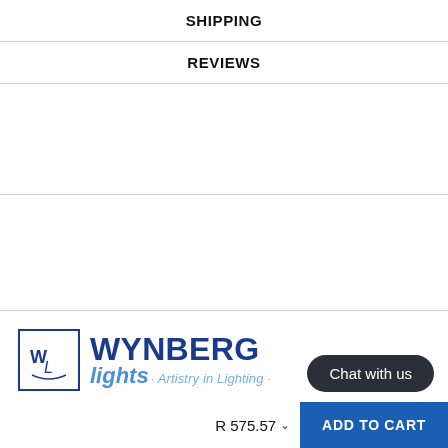SHIPPING
REVIEWS
[Figure (logo): Wynberg Lights logo with WL monogram in a bordered box and text 'WYNBERG lights · Artistry in Lighting ·']
Largest Range of Lighting Online
Visit Our Showroom In
R 575.57
ADD TO CART
Chat with us